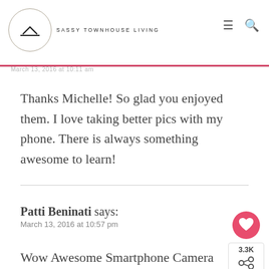SASSY TOWNHOUSE LIVING
Thanks Michelle! So glad you enjoyed them. I love taking better pics with my phone. There is always something awesome to learn!
Patti Beninati says:
March 13, 2016 at 10:57 pm
Wow Awesome Smartphone Camera tips